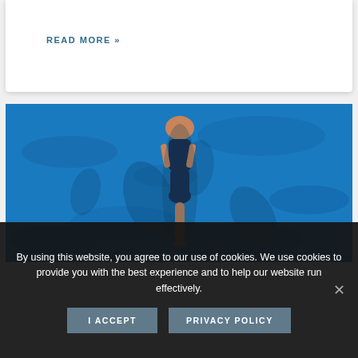READ MORE »
[Figure (photo): Aerial view of a diver in a dark swimsuit diving headfirst into a bright blue swimming pool, viewed from above with pool water and shadows visible.]
By using this website, you agree to our use of cookies. We use cookies to provide you with the best experience and to help our website run effectively.
I ACCEPT
PRIVACY POLICY